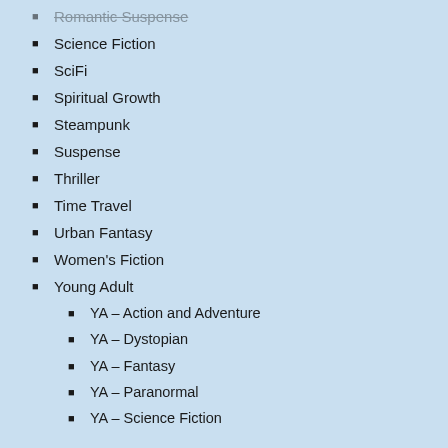Science Fiction
SciFi
Spiritual Growth
Steampunk
Suspense
Thriller
Time Travel
Urban Fantasy
Women's Fiction
Young Adult
YA – Action and Adventure
YA – Dystopian
YA – Fantasy
YA – Paranormal
YA – Science Fiction
Pages
Author Advertising
Authors: Share Your Book